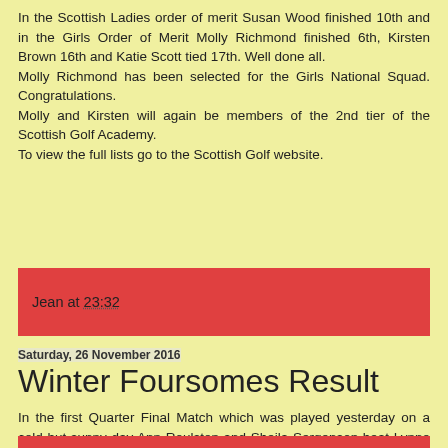In the Scottish Ladies order of merit Susan Wood finished 10th and in the Girls Order of Merit Molly Richmond finished 6th, Kirsten Brown 16th and Katie Scott tied 17th. Well done all.
Molly Richmond has been selected for the Girls National Squad. Congratulations.
Molly and Kirsten will again be members of the 2nd tier of the Scottish Golf Academy.
To view the full lists go to the Scottish Golf website.
Jean at 23:32
Saturday, 26 November 2016
Winter Foursomes Result
In the first Quarter Final Match which was played yesterday on a cold but sunny day Ann Roulston and Sheila Sergenson beat Lynne Williamson and Irene Morton at the 19th.